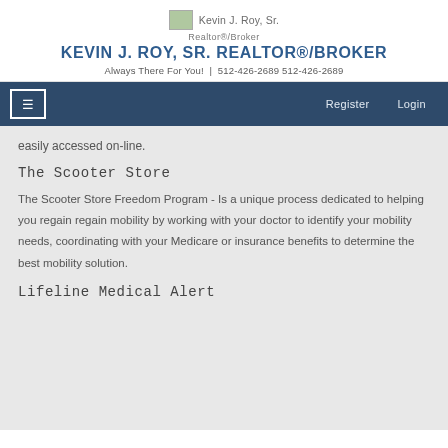Kevin J. Roy, Sr. | Realtor®/Broker | KEVIN J. ROY, SR. REALTOR®/BROKER | Always There For You! | 512-426-2689 512-426-2689
≡  Register  Login
easily accessed on-line.
The Scooter Store
The Scooter Store Freedom Program - Is a unique process dedicated to helping you regain regain mobility by working with your doctor to identify your mobility needs, coordinating with your Medicare or insurance benefits to determine the best mobility solution.
Lifeline Medical Alert